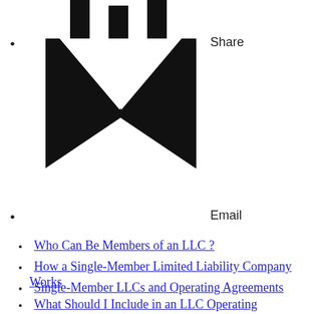[Figure (illustration): Email/share icon: top portion shows a table/bar icon, bottom portion shows a black envelope icon with white chevron/V mark]
Share
Email
Who Can Be Members of an LLC ?
How a Single-Member Limited Liability Company Works
Single-Member LLCs and Operating Agreements
What Should I Include in an LLC Operating Agreement?
Get a Certificate of Organization or Formation for Your New LLC
10 Easy Steps to Setting Up an LLC